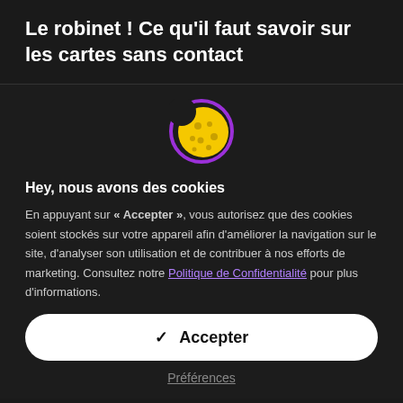Le robinet ! Ce qu'il faut savoir sur les cartes sans contact
[Figure (illustration): Cookie icon: a yellow cookie with a purple circular border, partially bitten]
Hey, nous avons des cookies
En appuyant sur « Accepter », vous autorisez que des cookies soient stockés sur votre appareil afin d'améliorer la navigation sur le site, d'analyser son utilisation et de contribuer à nos efforts de marketing. Consultez notre Politique de Confidentialité pour plus d'informations.
✓  Accepter
Préférences